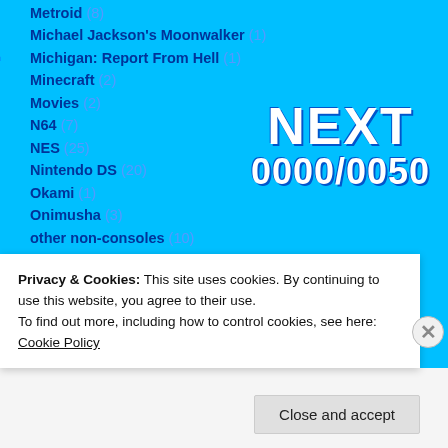Metroid (8)
Michael Jackson's Moonwalker (1)
Michigan: Report From Hell (1)
Minecraft (2)
Movies (2)
N64 (7)
NES (25)
Nintendo DS (20)
Okami (1)
Onimusha (3)
other non-consoles (10)
Paperboy (1)
Parasite Eve (3)
PC (22)
[Figure (screenshot): NEXT 0000/0050 overlay graphic in white bold text on cyan background]
Privacy & Cookies: This site uses cookies. By continuing to use this website, you agree to their use. To find out more, including how to control cookies, see here: Cookie Policy
Close and accept